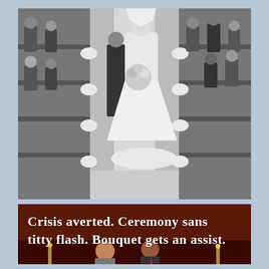[Figure (photo): Black and white photograph of a wedding ceremony. A bride in a white gown with a large bouquet and veil walks down the church aisle, accompanied by a man in a dark suit. Church pews with white ribbon bows are visible on both sides, with guests seated and standing.]
[Figure (photo): Color photograph with a warm dark red/brown background. Handwritten white text overlays the top portion reading 'Crisis averted. Ceremony sans titty flash. Bouquet gets an assist.' Below the text, a laughing couple is partially visible — a woman with curly hair and a man in a suit with a red tie.]
Crisis averted. Ceremony sans titty flash. Bouquet gets an assist.